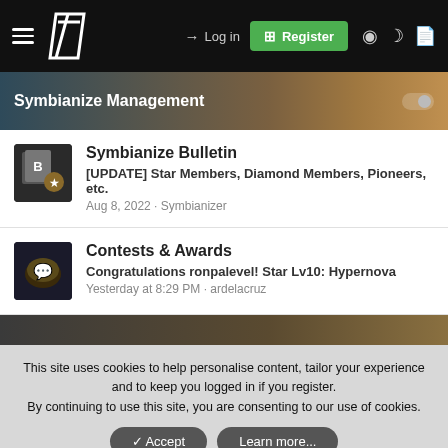Log in | Register | Symbianize navigation bar
Symbianize Management
Symbianize Bulletin
[UPDATE] Star Members, Diamond Members, Pioneers, etc.
Aug 8, 2022 · Symbianizer
Contests & Awards
Congratulations ronpalevel! Star Lv10: Hypernova
Yesterday at 8:29 PM · ardelacruz
This site uses cookies to help personalise content, tailor your experience and to keep you logged in if you register.
By continuing to use this site, you are consenting to our use of cookies.